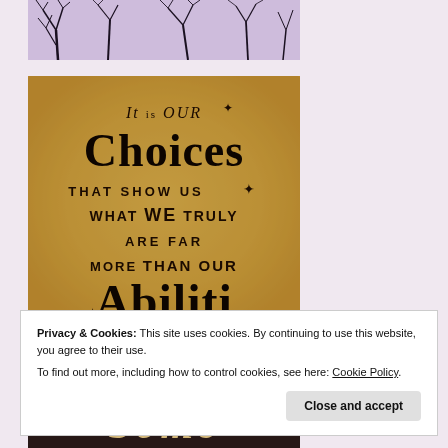[Figure (photo): Top portion of a photo showing bare tree branches against a light purple/lavender sky]
[Figure (illustration): Aged parchment-style image with decorative typography reading: 'It is our Choices that show us what we truly are far more than our Abilities' - Harry Potter quote on a worn brown paper background]
Privacy & Cookies: This site uses cookies. By continuing to use this website, you agree to their use.
To find out more, including how to control cookies, see here: Cookie Policy
[Figure (photo): Bottom partial photo showing the word 'Some' in decorative script text, partially cropped]